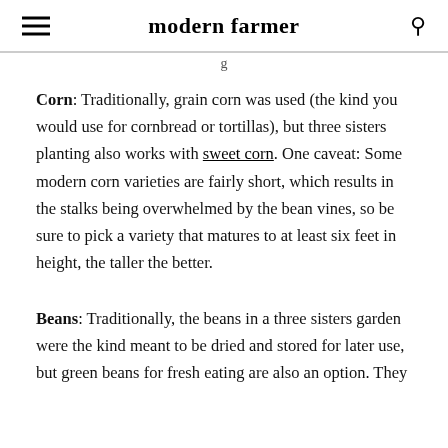modern farmer
g
Corn: Traditionally, grain corn was used (the kind you would use for cornbread or tortillas), but three sisters planting also works with sweet corn. One caveat: Some modern corn varieties are fairly short, which results in the stalks being overwhelmed by the bean vines, so be sure to pick a variety that matures to at least six feet in height, the taller the better.
Beans: Traditionally, the beans in a three sisters garden were the kind meant to be dried and stored for later use, but green beans for fresh eating are also an option. They